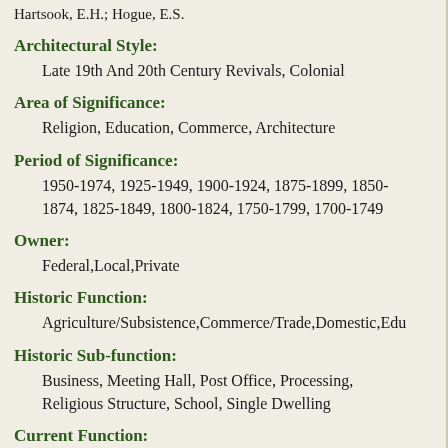Hartsook, E.H.; Hogue, E.S.
Architectural Style:
Late 19th And 20th Century Revivals, Colonial
Area of Significance:
Religion, Education, Commerce, Architecture
Period of Significance:
1950-1974, 1925-1949, 1900-1924, 1875-1899, 1850-1874, 1825-1849, 1800-1824, 1750-1799, 1700-1749
Owner:
Federal,Local,Private
Historic Function:
Agriculture/Subsistence,Commerce/Trade,Domestic,Edu...
Historic Sub-function:
Business, Meeting Hall, Post Office, Processing, Religious Structure, School, Single Dwelling
Current Function:
Commerce/Trade, Domestic, Education, Government, Religion, Social
Current Sub-function: